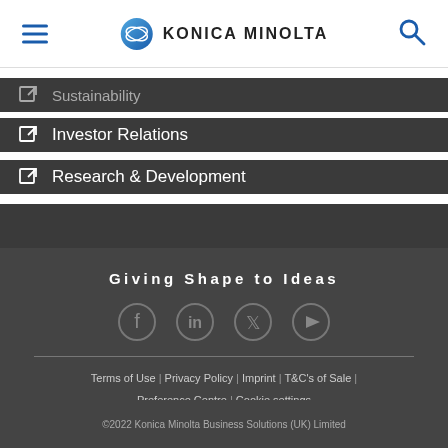Konica Minolta
Sustainability
Investor Relations
Research & Development
Giving Shape to Ideas
[Figure (other): Social media icons: Facebook, LinkedIn, Twitter, YouTube]
Terms of Use | Privacy Policy | Imprint | T&C's of Sale | Preference Centre | Cookie settings
©2022 Konica Minolta Business Solutions (UK) Limited